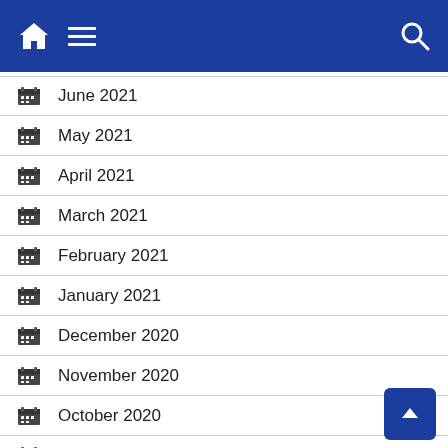Navigation bar with home, menu, and search icons
June 2021
May 2021
April 2021
March 2021
February 2021
January 2021
December 2020
November 2020
October 2020
September 2020
August 2020